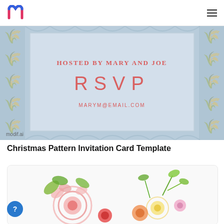modif.ai logo and navigation
[Figure (photo): Christmas pattern invitation card showing 'HOSTED BY MARY AND JOE', 'RSVP', 'MARYM@EMAIL.COM' on a blue patterned background with wheat/leaf motifs. Watermark: modif.ai]
Christmas Pattern Invitation Card Template
[Figure (photo): Watercolor floral illustration with pink, red, and colorful flowers and green leaves on white background]